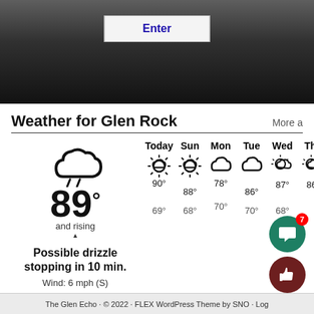[Figure (screenshot): Dark blurred hero image with an 'Enter' button overlay]
Weather for Glen Rock
[Figure (infographic): Weather widget showing current temperature 89° and rising, possible drizzle stopping in 10 min, wind 6 mph (S), with 6-day forecast: Today 90°/69°, Sun 88°/68°, Mon 78°/70°, Tue 86°/70°, Wed 87°/68°, Thu 86°]
The Glen Echo · © 2022 · FLEX WordPress Theme by SNO · Log